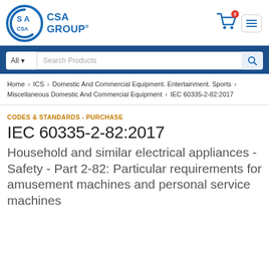[Figure (logo): CSA Group logo with circular SA emblem in blue and CSA GROUP text]
Home > ICS > Domestic And Commercial Equipment. Entertainment. Sports > Miscellaneous Domestic And Commercial Equipment > IEC 60335-2-82:2017
CODES & STANDARDS - PURCHASE
IEC 60335-2-82:2017
Household and similar electrical appliances - Safety - Part 2-82: Particular requirements for amusement machines and personal service machines